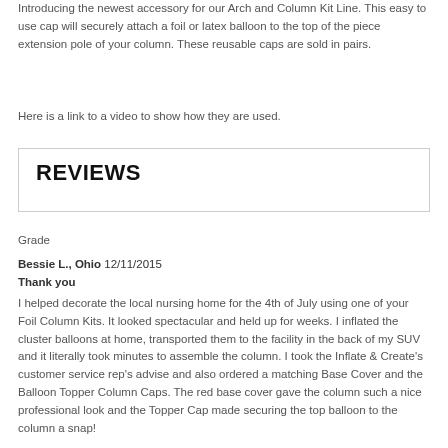Introducing the newest accessory for our Arch and Column Kit Line. This easy to use cap will securely attach a foil or latex balloon to the top of the piece extension pole of your column.  These reusable caps are sold in pairs.
Here is a link to a video to show how they are used.
REVIEWS
Grade
Bessie L., Ohio 12/11/2015
Thank you
I helped decorate the local nursing home for the 4th of July using one of your Foil Column Kits. It looked spectacular and held up for weeks. I inflated the cluster balloons at home, transported them to the facility in the back of my SUV and it literally took minutes to assemble the column. I took the Inflate & Create's customer service rep's advise and also ordered a matching Base Cover and the Balloon Topper Column Caps. The red base cover gave the column such a nice professional look and the Topper Cap made securing the top balloon to the column a snap!